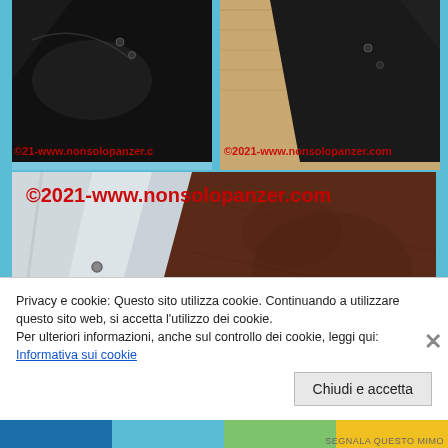[Figure (photo): Close-up photo of a black triangular leather or metal piece with two small holes, watermark: ©21-www.nonsolopanzer.c]
[Figure (photo): Close-up photo of a dark triangular piece on wooden surface with two holes, watermark: ©2021-www.nonsolopanzer.com]
[Figure (photo): Large close-up photo showing two triangular pieces side by side: left is silvery metallic with holes, right is dark brown leather. Watermark: ©2021-www.nonsolopanzer.com]
Privacy e cookie: Questo sito utilizza cookie. Continuando a utilizzare questo sito web, si accetta l'utilizzo dei cookie.
Per ulteriori informazioni, anche sul controllo dei cookie, leggi qui:
Informativa sui cookie
Chiudi e accetta